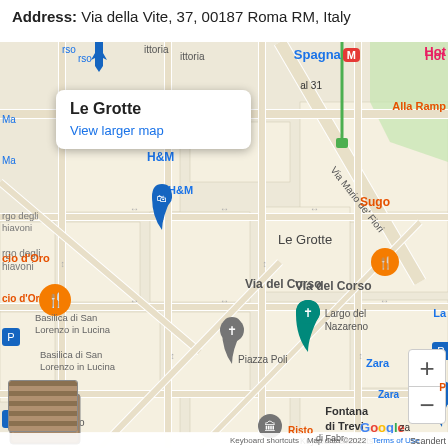Address: Via della Vite, 37, 00187 Roma RM, Italy
[Figure (map): Google Maps screenshot showing Le Grotte restaurant location at Via della Vite, 37, Roma. Map shows surrounding streets including Via Mario de' Fiori, Via del Corso. Nearby landmarks: Spagna Metro station, H&M, Basilica di San Lorenzo in Lucina, Largo del Nazareno, Piazza Poli, Fontana di Trevi, Montecitorio. Various restaurant pins (orange) and transit pins (blue) visible. Red pin marks Le Grotte location.]